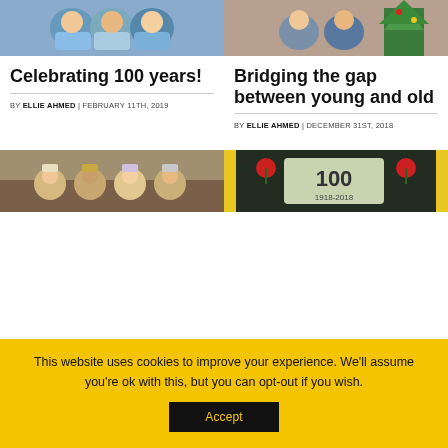[Figure (photo): Group photo of three young boys in blue shirts sitting together]
[Figure (photo): Two elderly people sitting together near a Christmas tree]
Celebrating 100 years!
Bridging the gap between young and old
BY ELLIE AHMED | FEBRUARY 11TH, 2019
BY ELLIE AHMED | DECEMBER 31ST, 2018
[Figure (photo): Children dressed in nativity costumes]
[Figure (photo): Artwork showing 100 1918-2018 with poppy decorations]
This website uses cookies to improve your experience. We'll assume you're ok with this, but you can opt-out if you wish.
Accept